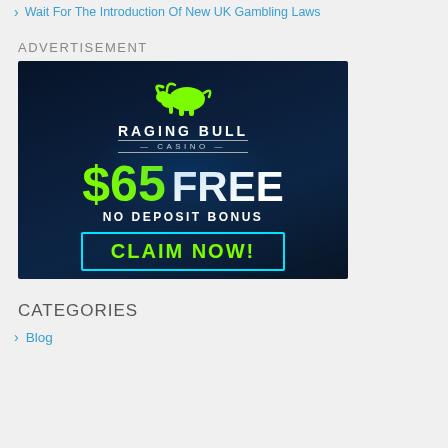Wait For The Introduction Of New UK Gambling Laws
ADVERTISEMENT
[Figure (illustration): Raging Bull Casino advertisement banner showing a green neon bull logo, text '$65 FREE NO DEPOSIT BONUS' and a 'CLAIM NOW!' button with cyan border on dark blue background.]
CATEGORIES
Blog